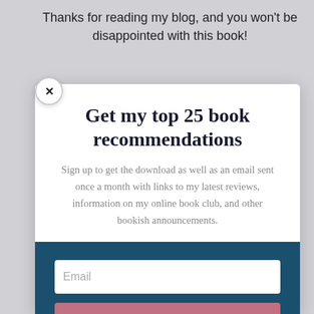Thanks for reading my blog, and you won't be disappointed with this book!
Get my top 25 book recommendations
Sign up to get the download as well as an email sent once a month with links to my latest reviews, information on my online book club, and other bookish announcements.
Email
GET THE PDF